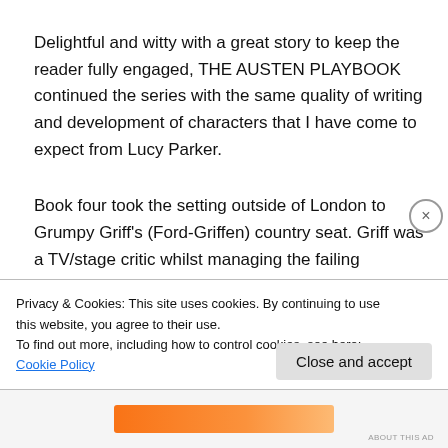Delightful and witty with a great story to keep the reader fully engaged, THE AUSTEN PLAYBOOK continued the series with the same quality of writing and development of characters that I have come to expect from Lucy Parker.
Book four took the setting outside of London to Grumpy Griff's (Ford-Griffen) country seat. Griff was a TV/stage critic whilst managing the failing
Privacy & Cookies: This site uses cookies. By continuing to use this website, you agree to their use.
To find out more, including how to control cookies, see here: Cookie Policy
Close and accept